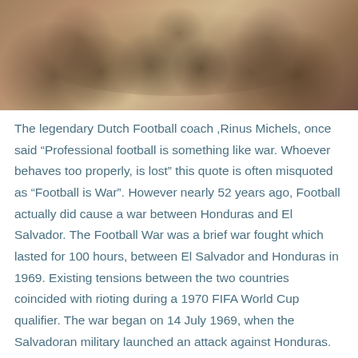[Figure (photo): Sepia-toned historical photograph of a group of football players posing together, cropped at top]
The legendary Dutch Football coach ,Rinus Michels, once said “Professional football is something like war. Whoever behaves too properly, is lost” this quote is often misquoted as “Football is War”. However nearly 52 years ago, Football actually did cause a war between Honduras and El Salvador. The Football War was a brief war fought which lasted for 100 hours, between El Salvador and Honduras in 1969. Existing tensions between the two countries coincided with rioting during a 1970 FIFA World Cup qualifier. The war began on 14 July 1969, when the Salvadoran military launched an attack against Honduras.
[Figure (photo): Black and white photograph of military aircraft flying in formation, partially cropped at bottom]